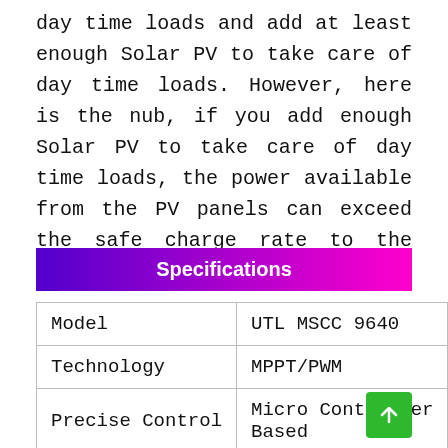day time loads and add at least enough Solar PV to take care of day time loads. However, here is the nub, if you add enough Solar PV to take care of day time loads, the power available from the PV panels can exceed the safe charge rate to the batteries.
Specifications
| Model | UTL MSCC 9640 |
| Technology | MPPT/PWM |
| Precise Control | Micro Controller Based |